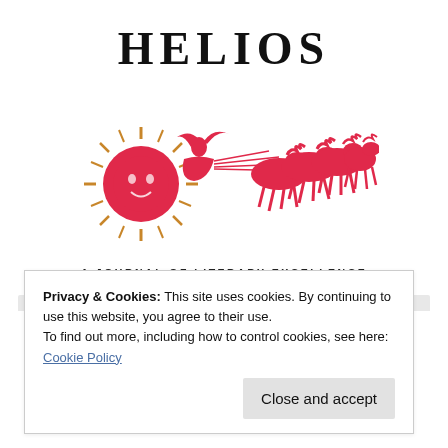HELIOS
[Figure (illustration): Red illustration of Helios (the sun god) riding a chariot pulled by four horses, with a large stylized sun with a face on the left side. The image is rendered in red/crimson color with some gold accents.]
A JOURNAL OF LITERARY EXCELLENCE
Privacy & Cookies: This site uses cookies. By continuing to use this website, you agree to their use.
To find out more, including how to control cookies, see here:
Cookie Policy
Close and accept